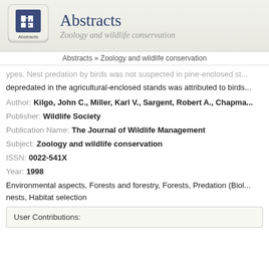[Figure (logo): Abstracts logo: puzzle pieces icon with 'Abstracts' text below, keyboard key style]
Abstracts
Zoology and wildlife conservation
Abstracts » Zoology and wildlife conservation
ypes. Nest predation by birds was not suspected in pine-enclosed st... depredated in the agricultural-enclosed stands was attributed to birds...
Author: Kilgo, John C., Miller, Karl V., Sargent, Robert A., Chapma...
Publisher: Wildlife Society
Publication Name: The Journal of Wildlife Management
Subject: Zoology and wildlife conservation
ISSN: 0022-541X
Year: 1998
Environmental aspects, Forests and forestry, Forests, Predation (Biol... nests, Habitat selection
User Contributions: